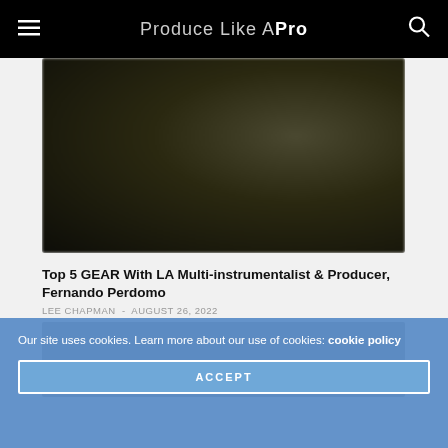Produce Like A Pro
[Figure (photo): Blurred dark photo of a music studio or performance setting with dark olive/brown tones]
Top 5 GEAR With LA Multi-instrumentalist & Producer, Fernando Perdomo
LEE CHAPMAN  -  AUGUST 26, 2022
[Figure (photo): Dark black image, second article thumbnail]
Our site uses cookies. Learn more about our use of cookies: cookie policy
ACCEPT